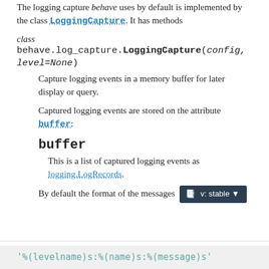The logging capture behave uses by default is implemented by the class LoggingCapture. It has methods
class behave.log_capture.LoggingCapture(config, level=None)
Capture logging events in a memory buffer for later display or query.
Captured logging events are stored on the attribute buffer:
buffer
This is a list of captured logging events as logging.LogRecords.
By default the format of the messages v: stable
'%(levelname)s:%(name)s:%(message)s'